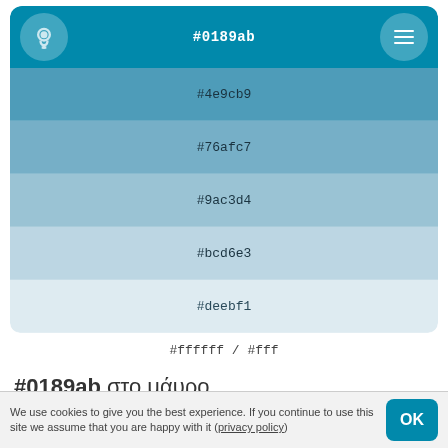[Figure (infographic): Color palette showing tints of #0189ab from dark to light: #0189ab, #4e9cb9, #76afc7, #9ac3d4, #bcd6e3, #deebf1]
#ffffff / #fff
#0189ab στο μάυρο
[Figure (infographic): Color palette showing shades of #0189ab going darker: #0189ab, #13718c, #195a6f]
We use cookies to give you the best experience. If you continue to use this site we assume that you are happy with it (privacy policy)